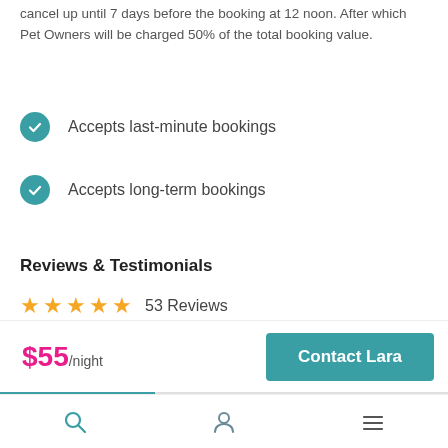cancel up until 7 days before the booking at 12 noon. After which Pet Owners will be charged 50% of the total booking value.
Accepts last-minute bookings
Accepts long-term bookings
Reviews & Testimonials
★★★★★ 53 Reviews
Pet Hosting - Aug 24, 2022
$55/night
Contact Lara